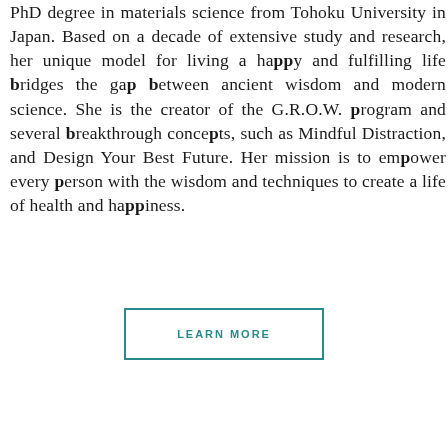PhD degree in materials science from Tohoku University in Japan. Based on a decade of extensive study and research, her unique model for living a happy and fulfilling life bridges the gap between ancient wisdom and modern science. She is the creator of the G.R.O.W. program and several breakthrough concepts, such as Mindful Distraction, and Design Your Best Future. Her mission is to empower every person with the wisdom and techniques to create a life of health and happiness.
LEARN MORE